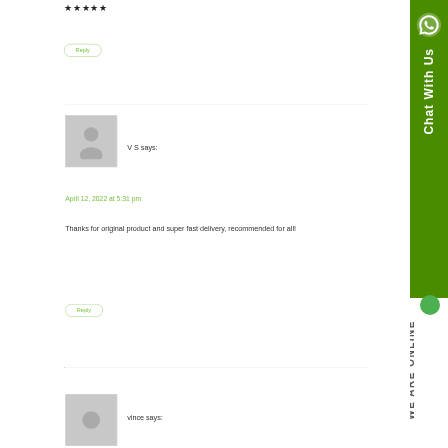[Figure (other): Five filled black star rating icons]
Reply
[Figure (photo): Generic user avatar placeholder - grey silhouette of a person on light grey background]
V S says:
April 12, 2022 at 5:31 pm
Thanks for original product and super fast delivery, recommended for all!
Reply
[Figure (photo): Generic user avatar placeholder - grey circle silhouette on light grey background]
vince says: